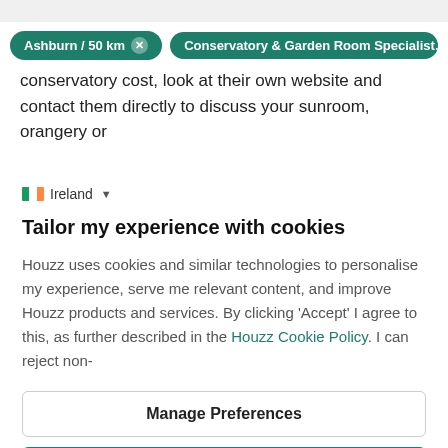[Figure (screenshot): Top grey bar placeholder]
Ashburn / 50 km  ×   Conservatory & Garden Room Specialists
conservatory cost, look at their own website and contact them directly to discuss your sunroom, orangery or
Ireland ▾
Tailor my experience with cookies
Houzz uses cookies and similar technologies to personalise my experience, serve me relevant content, and improve Houzz products and services. By clicking 'Accept' I agree to this, as further described in the Houzz Cookie Policy. I can reject non-
Manage Preferences
Accept